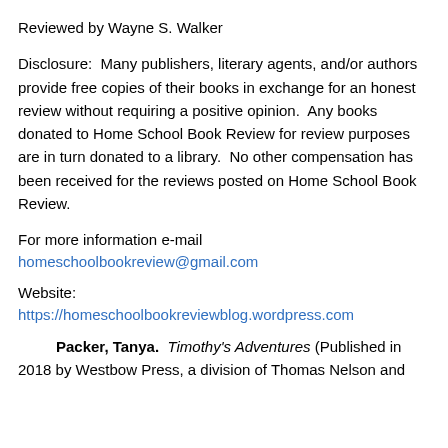Reviewed by Wayne S. Walker
Disclosure:  Many publishers, literary agents, and/or authors provide free copies of their books in exchange for an honest review without requiring a positive opinion.  Any books donated to Home School Book Review for review purposes are in turn donated to a library.  No other compensation has been received for the reviews posted on Home School Book Review.
For more information e-mail homeschoolbookreview@gmail.com
Website: https://homeschoolbookreviewblog.wordpress.com
Packer, Tanya.  Timothy's Adventures (Published in 2018 by Westbow Press, a division of Thomas Nelson and